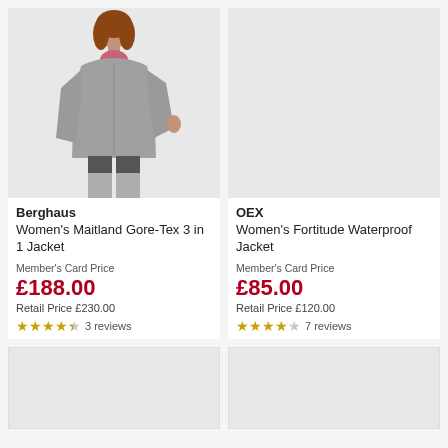[Figure (photo): Woman wearing a grey Berghaus 3-in-1 waterproof jacket, standing against a light grey background]
Berghaus
Women's Maitland Gore-Tex 3 in 1 Jacket
Member's Card Price
£188.00
Retail Price £230.00
3 reviews
[Figure (photo): Product image placeholder for OEX Women's Fortitude Waterproof Jacket (no image shown, grey background)]
OEX
Women's Fortitude Waterproof Jacket
Member's Card Price
£85.00
Retail Price £120.00
7 reviews
[Figure (photo): Product image placeholder (grey background, partially visible at bottom of page)]
[Figure (photo): Product image placeholder (grey background, partially visible at bottom of page)]